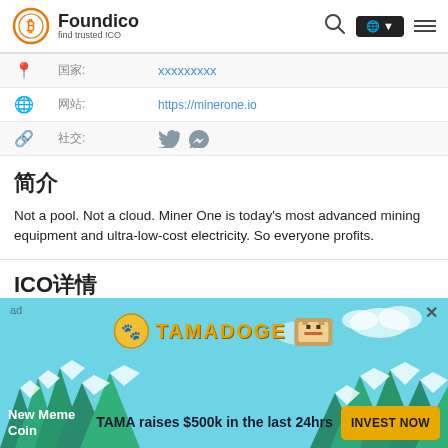Foundico - find trusted ICO
| 📍 | 国家: | xxxxxxxxx |
| 🌐 | 网站: | https://minerone.io |
| 🔗 | 社交: | Twitter Telegram |
简介
Not a pool. Not a cloud. Miner One is today's most advanced mining equipment and ultra-low-cost electricity. So everyone profits.
ICO详情
⏳ ICO已结束
[Figure (other): Blue button bar]
[Figure (infographic): Tamadoge advertisement banner: 'New Meme Coin', 'TAMA raises $500k in the last 24hrs', 'INVEST NOW' button, Tamadoge logo with dog mascot]